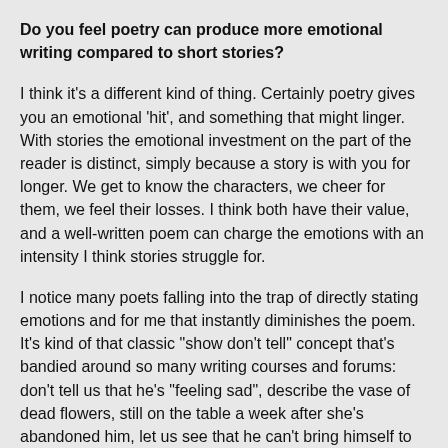Do you feel poetry can produce more emotional writing compared to short stories?
I think it's a different kind of thing. Certainly poetry gives you an emotional 'hit', and something that might linger. With stories the emotional investment on the part of the reader is distinct, simply because a story is with you for longer. We get to know the characters, we cheer for them, we feel their losses. I think both have their value, and a well-written poem can charge the emotions with an intensity I think stories struggle for.
I notice many poets falling into the trap of directly stating emotions and for me that instantly diminishes the poem. It's kind of that classic "show don't tell" concept that's bandied around so many writing courses and forums: don't tell us that he's "feeling sad", describe the vase of dead flowers, still on the table a week after she's abandoned him, let us see that he can't bring himself to even sleep in their old bed. Showing us give a stronger sense than directly stating the emotion.